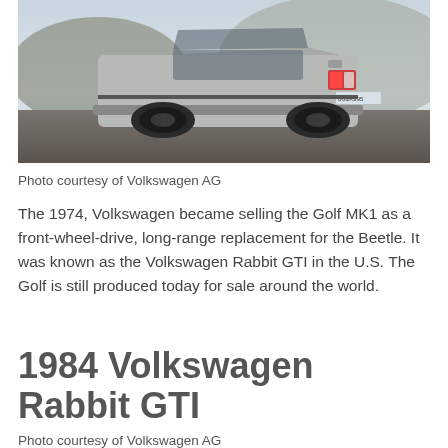[Figure (photo): Rear three-quarter view of a silver/grey Volkswagen Rabbit GTI (Golf MK1) hatchback parked on a paved area with hills and hazy sky in the background.]
Photo courtesy of Volkswagen AG
The 1974, Volkswagen became selling the Golf MK1 as a front-wheel-drive, long-range replacement for the Beetle. It was known as the Volkswagen Rabbit GTI in the U.S. The Golf is still produced today for sale around the world.
1984 Volkswagen Rabbit GTI
Photo courtesy of Volkswagen AG